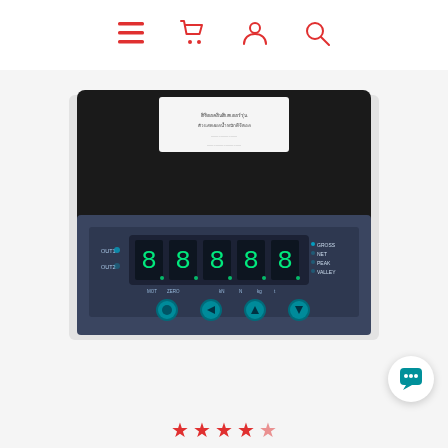Navigation bar with menu, cart, account, and search icons
[Figure (photo): A digital weight indicator / load cell controller device. It is a black rectangular panel-mount unit with a dark blue front face. The front panel features a 5-digit seven-segment green LED display, labeled indicators (OUT1, OUT2, GROSS, NET, PEAK, VALLEY), function labels (MOT, ZERO, kN, N, kg, t), and four teal circular push buttons at the bottom. A white label/sticker is visible on the top of the device.]
★★★★ (rating stars)